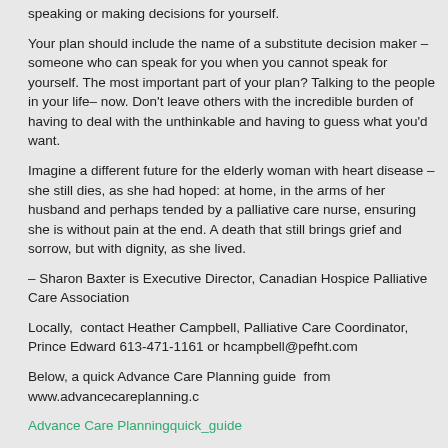speaking or making decisions for yourself.
Your plan should include the name of a substitute decision maker – someone who can speak for you when you cannot speak for yourself. The most important part of your plan? Talking to the people in your life– now. Don't leave others with the incredible burden of having to deal with the unthinkable and having to guess what you'd want.
Imagine a different future for the elderly woman with heart disease – she still dies, as she had hoped: at home, in the arms of her husband and perhaps tended by a palliative care nurse, ensuring she is without pain at the end. A death that still brings grief and sorrow, but with dignity, as she lived.
– Sharon Baxter is Executive Director, Canadian Hospice Palliative Care Association
Locally, contact Heather Campbell, Palliative Care Coordinator, Prince Edward 613-471-1161 or hcampbell@pefht.com
Below, a quick Advance Care Planning guide from www.advancecareplanning.c
Advance Care Planningquick_guide